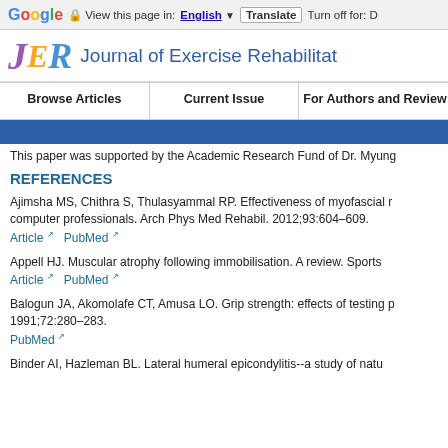Google  View this page in: English [▼]  Translate  Turn off for: D
[Figure (logo): Journal of Exercise Rehabilitation (JER) logo with colorful stylized J, E, R letters and journal name text]
Browse Articles | Current Issue | For Authors and Review
This paper was supported by the Academic Research Fund of Dr. Myung
REFERENCES
Ajimsha MS, Chithra S, Thulasyammal RP. Effectiveness of myofascial r computer professionals. Arch Phys Med Rehabil. 2012;93:604–609. Article  PubMed
Appell HJ. Muscular atrophy following immobilisation. A review. Sports Article  PubMed
Balogun JA, Akomolafe CT, Amusa LO. Grip strength: effects of testing p 1991;72:280–283. PubMed
Binder AI, Hazleman BL. Lateral humeral epicondylitis--a study of natu